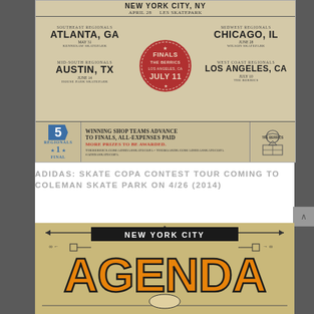[Figure (infographic): Adidas Skate Copa contest tour poster on vintage tan/brown background. Shows New York City NY, April 28 Les Skatepark at top. Four regional locations: Southeast Regionals Atlanta GA May 31 Kennesaw Skatepark; Midwest Regionals Chicago IL June 28 Wilson Skatepark; Mid-South Regionals Austin TX June 14 House Park Skatepark; West Coast Regionals Los Angeles CA July 10 The Berrics. Center red circular seal: Finals The Berrics Los Angeles CA July 11. Bottom bar: 5 Regionals 1 Final badge; text 'Winning shop teams advance to finals, all-expenses paid. More prizes to be awarded.' with URLs and #adidaskatecopa; The Berrics logo.]
ADIDAS: SKATE COPA CONTEST TOUR COMING TO COLEMAN SKATE PARK ON 4/26 (2014)
[Figure (infographic): New York City Agenda show logo/poster. Black banner with NEW YORK CITY text, and large orange AGENDA text with geometric design below.]